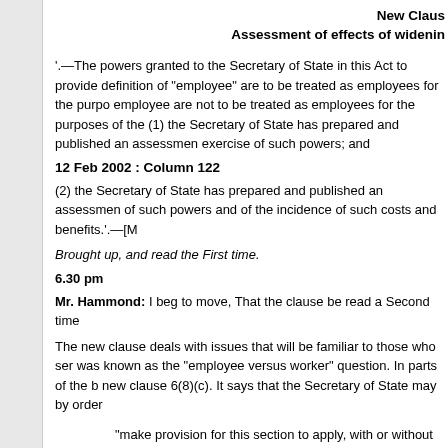New Claus
Assessment of effects of widenin
'.—The powers granted to the Secretary of State in this Act to provide definition of "employee" are to be treated as employees for the purpo employee are not to be treated as employees for the purposes of the (1) the Secretary of State has prepared and published an assessmen exercise of such powers; and
12 Feb 2002 : Column 122
(2) the Secretary of State has prepared and published an assessmen of such powers and of the incidence of such costs and benefits.'.—[M
Brought up, and read the First time.
6.30 pm
Mr. Hammond: I beg to move, That the clause be read a Second time
The new clause deals with issues that will be familiar to those who ser was known as the "employee versus worker" question. In parts of the b new clause 6(8)(c). It says that the Secretary of State may by order
"make provision for this section to apply, with or without modifi